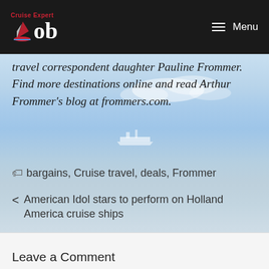Cruise Expert Bob — Menu
travel correspondent daughter Pauline Frommer. Find more destinations online and read Arthur Frommer's blog at frommers.com.
bargains, Cruise travel, deals, Frommer
American Idol stars to perform on Holland America cruise ships
Trend towards larger meeting groups
Leave a Comment